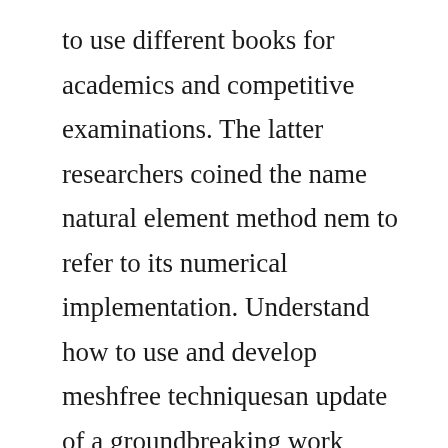to use different books for academics and competitive examinations. The latter researchers coined the name natural element method nem to refer to its numerical implementation. Understand how to use and develop meshfree techniquesan update of a groundbreaking work reflecting the significant advances made in the field since the publication of its predecessor, meshfree methods. Encyclopedia of computational mechanics, 6 volume set, 2nd. Meshfree methods categories according to the